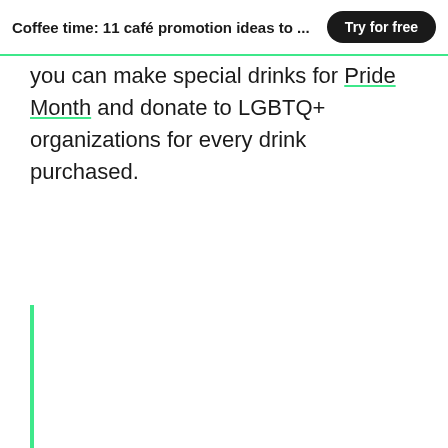Coffee time: 11 café promotion ideas to ...
you can make special drinks for Pride Month and donate to LGBTQ+ organizations for every drink purchased.